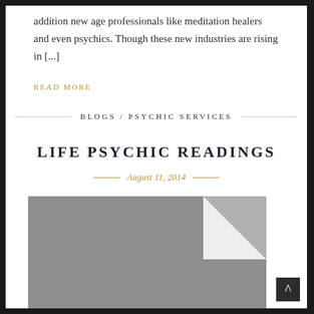addition new age professionals like meditation healers and even psychics. Though these new industries are rising in [...]
READ MORE
BLOGS / PSYCHIC SERVICES
LIFE PSYCHIC READINGS
August 11, 2014
[Figure (photo): Gray placeholder image with folded page corner effect in upper right, representing a blog post thumbnail for Life Psychic Readings]